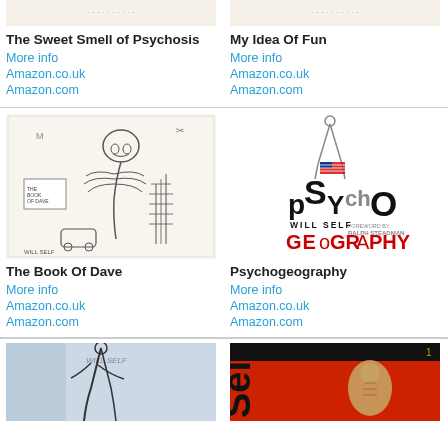[Figure (illustration): Book cover - The Sweet Smell of Psychosis (partial, top cropped)]
[Figure (illustration): Book cover - My Idea Of Fun (partial, top cropped)]
The Sweet Smell of Psychosis
More info
Amazon.co.uk
Amazon.com
My Idea Of Fun
More info
Amazon.co.uk
Amazon.com
[Figure (illustration): Book cover - The Book Of Dave, black and white illustration with skull and spine figure]
[Figure (illustration): Book cover - Psychogeography by Will Self, with stylized psycho text and geography text]
The Book Of Dave
More info
Amazon.co.uk
Amazon.com
Psychogeography
More info
Amazon.co.uk
Amazon.com
[Figure (illustration): Book cover - partial, shows figure on blue background]
[Figure (illustration): Book cover - 'Self', red and black cover with anatomical figure]